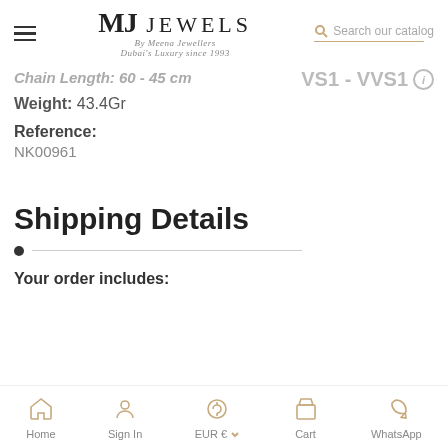MJ JEWELS | By Meena Jewellers Dubai's Luxury since 1993 | Search our catalog
Chain Length: 60 - 45 cm
Weight: 43.4Gr
VS1 - VVS1
Reference:
NK00961
Shipping Details
Your order includes:
Home | Sign In | EUR € | Cart | WhatsApp